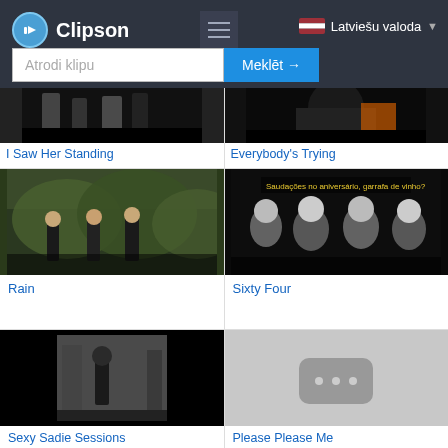[Figure (screenshot): Clipson website header with logo, hamburger menu, language selector (Latviešu valoda), and search bar with placeholder 'Atrodi klipu' and blue search button 'Meklēt →']
[Figure (photo): Thumbnail for 'I Saw Her Standing' - black and white photo of band members]
I Saw Her Standing
[Figure (photo): Thumbnail for 'Everybody's Trying' - dark photo]
Everybody's Trying
[Figure (photo): Thumbnail for 'Rain' - black and white photo of band in garden]
Rain
[Figure (photo): Thumbnail for 'Sixty Four' - black and white photo of four band members laughing with subtitle text]
Sixty Four
[Figure (photo): Thumbnail for 'Sexy Sadie Sessions' - black and white photo]
Sexy Sadie Sessions
[Figure (other): Thumbnail for 'Please Please Me' - grey placeholder with video icon]
Please Please Me